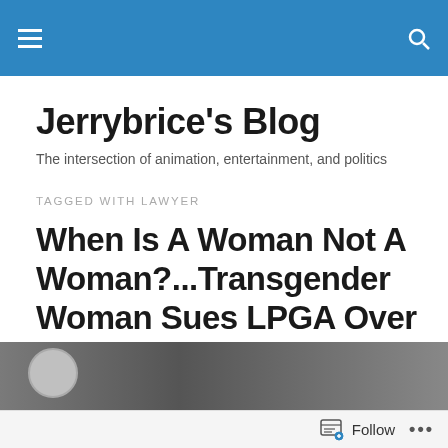Jerrybrice's Blog navigation bar
Jerrybrice's Blog
The intersection of animation, entertainment, and politics
TAGGED WITH LAWYER
When Is A Woman Not A Woman?...Transgender Woman Sues LPGA Over Birth Rule.
[Figure (photo): Partial photo strip at the bottom of the page, partially visible, with a circular avatar on the left side]
Follow ...